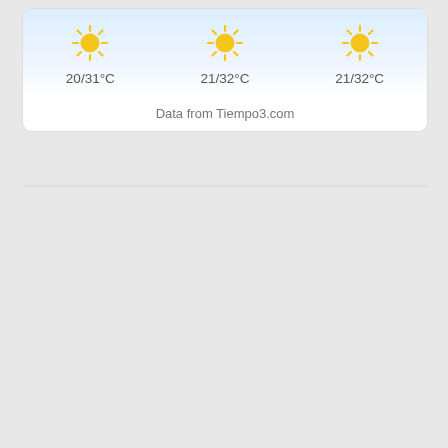[Figure (infographic): Weather widget showing three days of sunny weather: 20/31°C, 21/32°C, 21/32°C, with gradient blue sky background]
Data from Tiempo3.com
[Figure (infographic): Stradivarius fashion advertisement showing a blonde woman wearing dark sunglasses and a navy blazer over a striped top, with NUEVO text at the bottom]
NUEVO